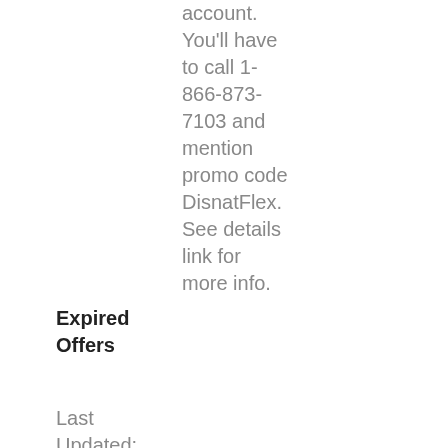account. You'll have to call 1-866-873-7103 and mention promo code DisnatFlex. See details link for more info.
Expired Offers
Last Updated: